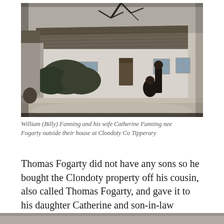[Figure (photo): Black and white photograph of William (Billy) Fanning and his wife Catherine Fanning nee Fogarty standing outside their thatched house at Clondoty, Co Tipperary. Two figures visible in front of a long whitewashed cottage with thatched roof and bare tree branches above.]
William (Billy) Fanning and his wife Catherine Fanning nee Fogarty outside their house at Clondoty Co Tipperary
Thomas Fogarty did not have any sons so he bought the Clondoty property off his cousin, also called Thomas Fogarty, and gave it to his daughter Catherine and son-in-law William Fanning.
[Figure (photo): Partial view of another black and white photograph visible at the bottom of the page.]